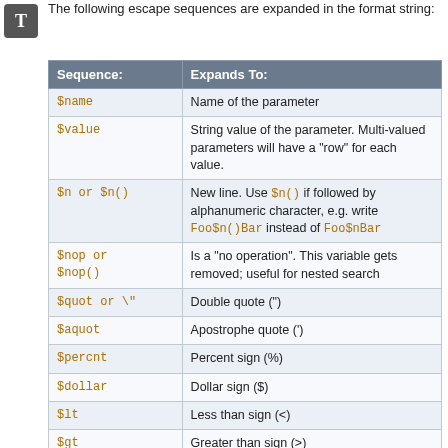The following escape sequences are expanded in the format string:
| Sequence: | Expands To: |
| --- | --- |
| $name | Name of the parameter |
| $value | String value of the parameter. Multi-valued parameters will have a "row" for each value. |
| $n or $n() | New line. Use $n() if followed by alphanumeric character, e.g. write Foo$n()Bar instead of Foo$nBar |
| $nop or $nop() | Is a "no operation". This variable gets removed; useful for nested search |
| $quot or \" | Double quote (") |
| $aquot | Apostrophe quote (') |
| $percnt | Percent sign (%) |
| $dollar | Dollar sign ($) |
| $lt | Less than sign (<) |
| $gt | Greater than sign (>) |